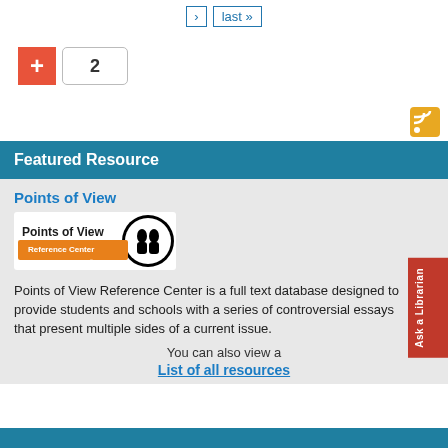› last »
[Figure (other): Plus button with orange/red background and number 2 input box]
[Figure (other): RSS feed icon (orange with white wifi-style symbol)]
Featured Resource
Points of View
[Figure (logo): Points of View Reference Center logo powered by EBSCOhost]
Points of View Reference Center is a full text database designed to provide students and schools with a series of controversial essays that present multiple sides of a current issue.
You can also view a
List of all resources